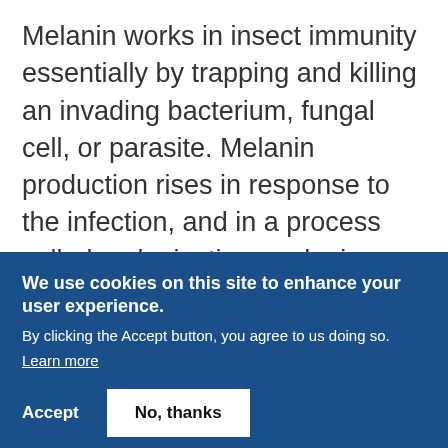Melanin works in insect immunity essentially by trapping and killing an invading bacterium, fungal cell, or parasite. Melanin production rises in response to the infection, and in a process called melanization, melanin molecules surround the invading pathogen—while highly reactive molecules produced as part of the melanin-synthesis process,
We use cookies on this site to enhance your user experience. By clicking the Accept button, you agree to us doing so. Learn more
Accept
No, thanks